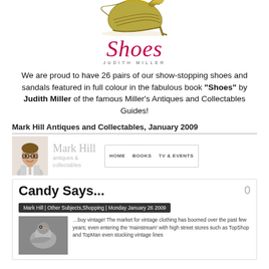[Figure (photo): A decorative high-heel shoe (stiletto) in gold/green, photographed against white background, with 'Shoes' book cover branding below it including the title in pink italic and 'JUDITH MILLER' in small caps]
We are proud to have 26 pairs of our show-stopping shoes and sandals featured in full colour in the fabulous book "Shoes" by Judith Miller of the famous Miller's Antiques and Collectables Guides!
Mark Hill Antiques and Collectables, January 2009
[Figure (screenshot): Screenshot of the Mark Hill antiques & collectables website header, showing a photo of Mark Hill (smiling man with glasses in suit), the website logo/brand name, and navigation links: HOME, BOOKS, TV & EVENTS]
[Figure (screenshot): Screenshot of a blog post titled 'Candy Says...' with metadata 'Mark Hill | Other Subjects, Shopping | Monday January 26 2009', a comment count of 0, a bird photo on the left, and text beginning '...buy vintage! The market for vintage clothing has boomed over the past few years; even entering the mainstream with high street stores such as TopShop and TopMan even stocking vintage lines']